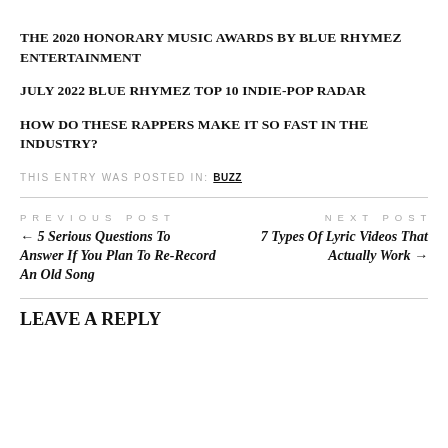THE 2020 HONORARY MUSIC AWARDS BY BLUE RHYMEZ ENTERTAINMENT
JULY 2022 BLUE RHYMEZ TOP 10 INDIE-POP RADAR
HOW DO THESE RAPPERS MAKE IT SO FAST IN THE INDUSTRY?
THIS ENTRY WAS POSTED IN: BUZZ
PREVIOUS POST
← 5 Serious Questions To Answer If You Plan To Re-Record An Old Song
NEXT POST
7 Types Of Lyric Videos That Actually Work →
LEAVE A REPLY